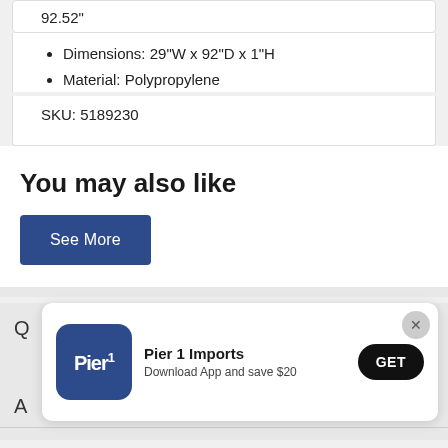92.52"
Dimensions: 29"W x 92"D x 1"H
Material: Polypropylene
SKU: 5189230
You may also like
See More
[Figure (logo): Pier 1 Imports app promotion popup with logo, text 'Download App and save $20', and GET button]